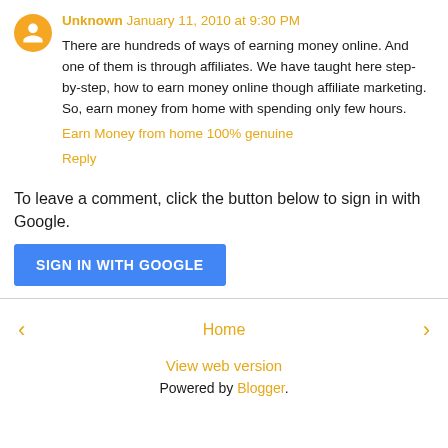Unknown January 11, 2010 at 9:30 PM
There are hundreds of ways of earning money online. And one of them is through affiliates. We have taught here step-by-step, how to earn money online though affiliate marketing. So, earn money from home with spending only few hours.
Earn Money from home 100% genuine
Reply
To leave a comment, click the button below to sign in with Google.
SIGN IN WITH GOOGLE
Home
View web version
Powered by Blogger.